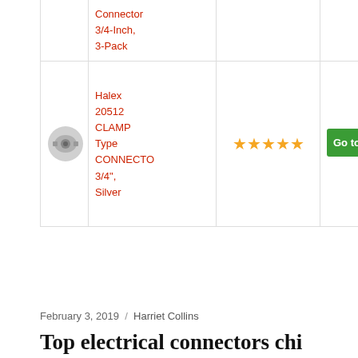| Image | Product Name | Rating | Link |
| --- | --- | --- | --- |
| [img] | Connector
3/4-Inch,
3-Pack |  |  |
| [img] | Halex 20512 CLAMP Type CONNECTO 3/4", Silver | ★★★★★ | Go to amaz... |
Continue reading »
February 3, 2019 / Harriet Collins
Top electrical connectors chi...